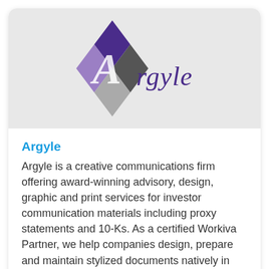[Figure (logo): Argyle company logo — four diamond shapes in purple, lavender, dark gray, and light gray arranged in a diamond pattern, with a stylized 'A' overlaid, and the word 'Argyle' in cursive purple script to the right]
Argyle
Argyle is a creative communications firm offering award-winning advisory, design, graphic and print services for investor communication materials including proxy statements and 10-Ks. As a certified Workiva Partner, we help companies design, prepare and maintain stylized documents natively in Wdesk.